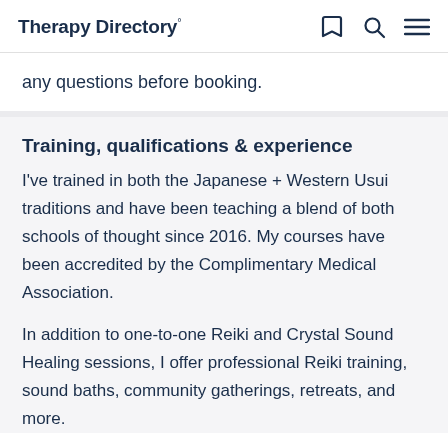Therapy Directory°
any questions before booking.
Training, qualifications & experience
I've trained in both the Japanese + Western Usui traditions and have been teaching a blend of both schools of thought since 2016. My courses have been accredited by the Complimentary Medical Association.
In addition to one-to-one Reiki and Crystal Sound Healing sessions, I offer professional Reiki training, sound baths, community gatherings, retreats, and more.